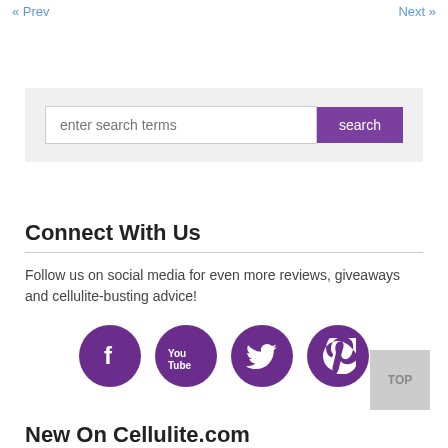« Prev    Next »
[Figure (screenshot): Search box with text input 'enter search terms' and a purple 'search' button]
Connect With Us
Follow us on social media for even more reviews, giveaways and cellulite-busting advice!
[Figure (illustration): Four purple circular social media icons: Facebook, YouTube, Twitter, Pinterest]
New On Cellulite.com